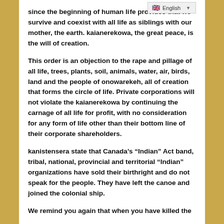since the beginning of human life provides that we survive and coexist with all life as siblings with our mother, the earth. kaianerekowa, the great peace, is the will of creation.
This order is an objection to the rape and pillage of all life, trees, plants, soil, animals, water, air, birds, land and the people of onowarekeh, all of creation that forms the circle of life. Private corporations will not violate the kaianerekowa by continuing the carnage of all life for profit, with no consideration for any form of life other than their bottom line of their corporate shareholders.
kanistensera state that Canada’s “Indian” Act band, tribal, national, provincial and territorial “Indian” organizations have sold their birthright and do not speak for the people. They have left the canoe and joined the colonial ship.
We remind you again that when you have killed the